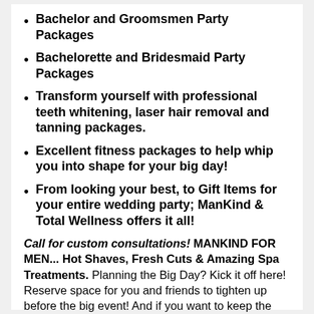Bachelor and Groomsmen Party Packages
Bachelorette and Bridesmaid Party Packages
Transform yourself with professional teeth whitening, laser hair removal and tanning packages.
Excellent fitness packages to help whip you into shape for your big day!
From looking your best, to Gift Items for your entire wedding party; ManKind & Total Wellness offers it all!
Call for custom consultations! MANKIND FOR MEN... Hot Shaves, Fresh Cuts & Amazing Spa Treatments. Planning the Big Day? Kick it off here! Reserve space for you and friends to tighten up before the big event! And if you want to keep the party in one location, you may also rent us out for the night; we